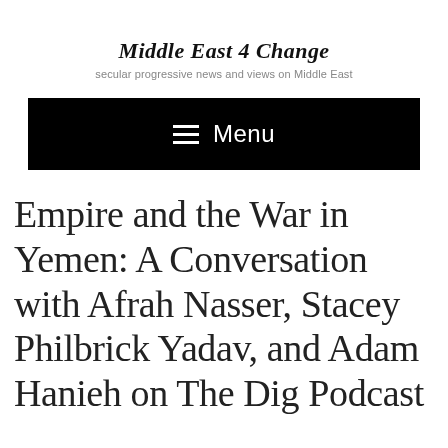Middle East 4 Change
secular progressive news and views on Middle East
[Figure (other): Black navigation menu bar with hamburger icon and 'Menu' text in white]
Empire and the War in Yemen: A Conversation with Afrah Nasser, Stacey Philbrick Yadav, and Adam Hanieh on The Dig Podcast